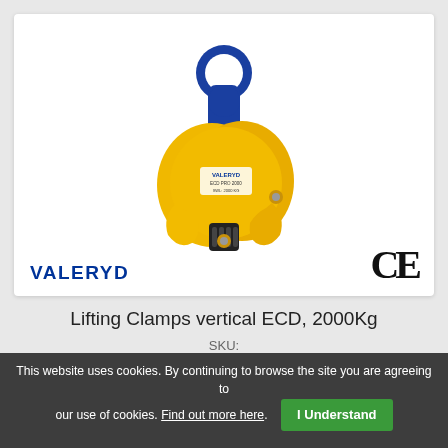[Figure (photo): Yellow vertical lifting clamp (VALERYD ECD model) with blue swivel eye hook at top, shown on white background. CE mark visible at bottom right of card. VALERYD brand logo in blue at bottom left.]
Lifting Clamps vertical ECD, 2000Kg
SKU:
6510032
This website uses cookies. By continuing to browse the site you are agreeing to our use of cookies. Find out more here.